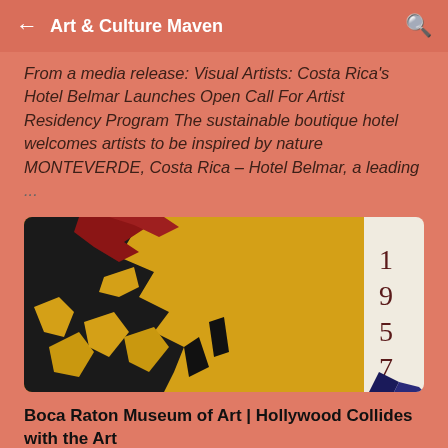← Art & Culture Maven 🔍
From a media release: Visual Artists: Costa Rica's Hotel Belmar Launches Open Call For Artist Residency Program The sustainable boutique hotel welcomes artists to be inspired by nature MONTEVERDE, Costa Rica – Hotel Belmar, a leading ...
[Figure (photo): Abstract painting with bold yellow, black, red color fields, with the number 1957 visible on the right side on a cream background]
Boca Raton Museum of Art | Hollywood Collides with the Art World - On view until August 21, 2022
From a media release Boca Raton Museum of Art Hollywood